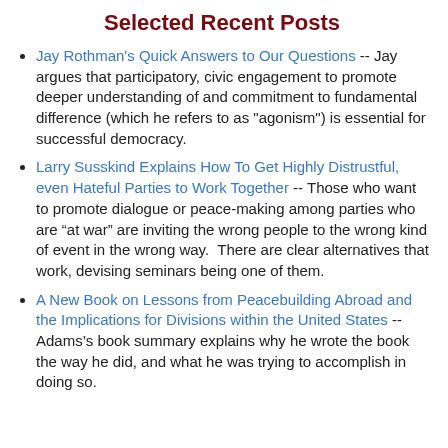Selected Recent Posts
Jay Rothman's Quick Answers to Our Questions -- Jay argues that participatory, civic engagement to promote deeper understanding of and commitment to fundamental difference (which he refers to as "agonism") is essential for successful democracy.
Larry Susskind Explains How To Get Highly Distrustful, even Hateful Parties to Work Together -- Those who want to promote dialogue or peace-making among parties who are “at war” are inviting the wrong people to the wrong kind of event in the wrong way.  There are clear alternatives that work, devising seminars being one of them.
A New Book on Lessons from Peacebuilding Abroad and the Implications for Divisions within the United States -- Adams’s book summary explains why he wrote the book the way he did, and what he was trying to accomplish in doing so.